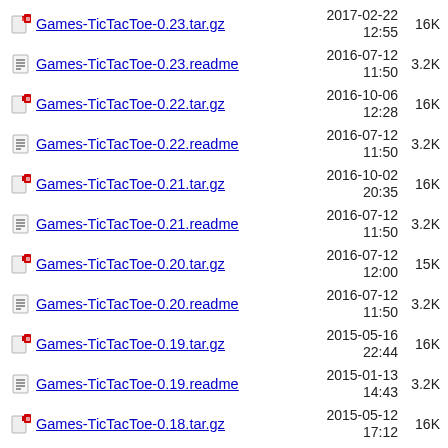Games-TicTacToe-0.23.tar.gz  2017-02-22 12:55  16K
Games-TicTacToe-0.23.readme  2016-07-12 11:50  3.2K
Games-TicTacToe-0.22.tar.gz  2016-10-06 12:28  16K
Games-TicTacToe-0.22.readme  2016-07-12 11:50  3.2K
Games-TicTacToe-0.21.tar.gz  2016-10-02 20:35  16K
Games-TicTacToe-0.21.readme  2016-07-12 11:50  3.2K
Games-TicTacToe-0.20.tar.gz  2016-07-12 12:00  15K
Games-TicTacToe-0.20.readme  2016-07-12 11:50  3.2K
Games-TicTacToe-0.19.tar.gz  2015-05-16 22:44  16K
Games-TicTacToe-0.19.readme  2015-01-13 14:43  3.2K
Games-TicTacToe-0.18.tar.gz  2015-05-12 17:12  16K
Games-TicTacToe-0.18.readme  2015-01-13